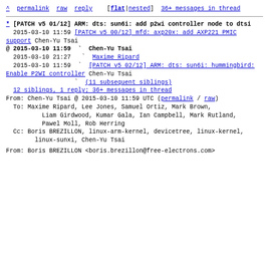^ permalink raw reply  [flat|nested] 36+ messages in thread
* [PATCH v5 01/12] ARM: dts: sun6i: add p2wi controller node to dtsi
  2015-03-10 11:59 [PATCH v5 00/12] mfd: axp20x: add AXP221 PMIC support Chen-Yu Tsai
@ 2015-03-10 11:59 ` Chen-Yu Tsai
  2015-03-10 21:27   ` Maxime Ripard
  2015-03-10 11:59 ` [PATCH v5 02/12] ARM: dts: sun6i: hummingbird: Enable P2WI controller Chen-Yu Tsai
                   ` (11 subsequent siblings)
  12 siblings, 1 reply; 36+ messages in thread
From: Chen-Yu Tsai @ 2015-03-10 11:59 UTC (permalink / raw)
To: Maxime Ripard, Lee Jones, Samuel Ortiz, Mark Brown,
        Liam Girdwood, Kumar Gala, Ian Campbell, Mark Rutland,
        Pawel Moll, Rob Herring
  Cc: Boris BREZILLON, linux-arm-kernel, devicetree, linux-kernel,
        linux-sunxi, Chen-Yu Tsai
From: Boris BREZILLON <boris.brezillon@free-electrons.com>